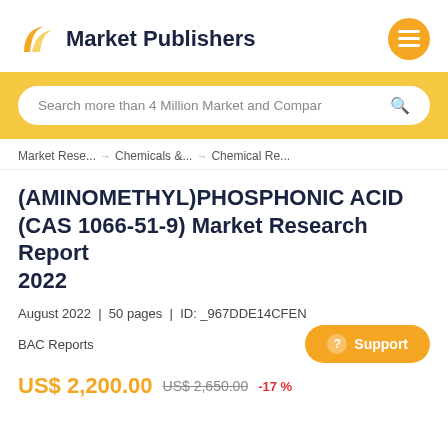Market Publishers
Search more than 4 Million Market and Compar
Market Rese... → Chemicals &... → Chemical Re...
(AMINOMETHYL)PHOSPHONIC ACID (CAS 1066-51-9) Market Research Report 2022
August 2022 | 50 pages | ID: _967DDE14CFEN
BAC Reports
US$ 2,200.00  US$ 2,650.00  -17 %